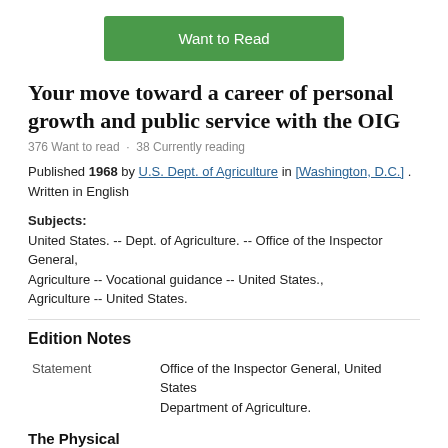[Figure (other): Green 'Want to Read' button]
Your move toward a career of personal growth and public service with the OIG
376 Want to read · 38 Currently reading
Published 1968 by U.S. Dept. of Agriculture in [Washington, D.C.] .
Written in English
Subjects:
United States. -- Dept. of Agriculture. -- Office of the Inspector General,
Agriculture -- Vocational guidance -- United States.,
Agriculture -- United States.
Edition Notes
| Statement | Office of the Inspector General, United States Department of Agriculture. |
The Physical
Obj...